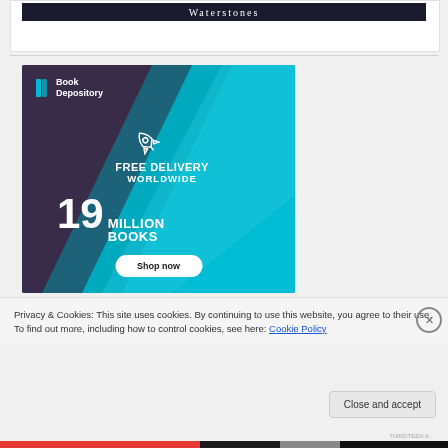[Figure (logo): Waterstones logo banner, dark navy background with white serif text 'Waterstones']
[Figure (illustration): Book Depository advertisement: dark purple and teal background with rocket icon, text 'FREE DELIVERY WORLDWIDE', '19 MILLION BOOKS', 'Shop now' button and Book Depository logo]
Privacy & Cookies: This site uses cookies. By continuing to use this website, you agree to their use.
To find out more, including how to control cookies, see here: Cookie Policy
Close and accept